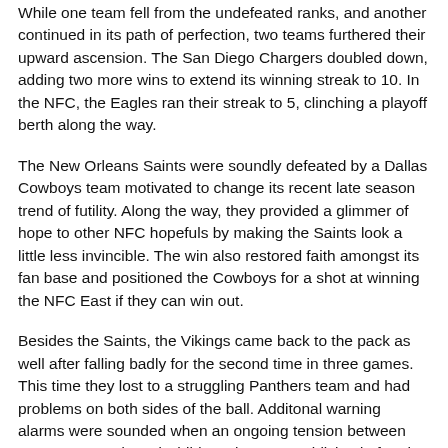While one team fell from the undefeated ranks, and another continued in its path of perfection, two teams furthered their upward ascension. The San Diego Chargers doubled down, adding two more wins to extend its winning streak to 10. In the NFC, the Eagles ran their streak to 5, clinching a playoff berth along the way.
The New Orleans Saints were soundly defeated by a Dallas Cowboys team motivated to change its recent late season trend of futility. Along the way, they provided a glimmer of hope to other NFC hopefuls by making the Saints look a little less invincible. The win also restored faith amongst its fan base and positioned the Cowboys for a shot at winning the NFC East if they can win out.
Besides the Saints, the Vikings came back to the pack as well after falling badly for the second time in three games. This time they lost to a struggling Panthers team and had problems on both sides of the ball. Additonal warning alarms were sounded when an ongoing tension between Brett Favre and Brad Childress became publicized after the contest. Although the nation brings to bare this contest has...